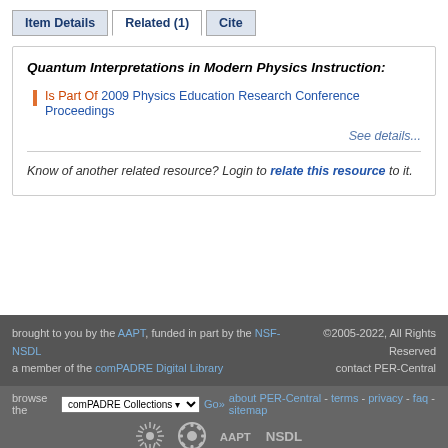Item Details | Related (1) | Cite
Quantum Interpretations in Modern Physics Instruction:
Is Part Of 2009 Physics Education Research Conference Proceedings
See details...
Know of another related resource? Login to relate this resource to it.
brought to you by the AAPT, funded in part by the NSF-NSDL a member of the comPADRE Digital Library ©2005-2022, All Rights Reserved contact PER-Central browse the comPADRE Collections Go» about PER-Central - terms - privacy - faq - sitemap